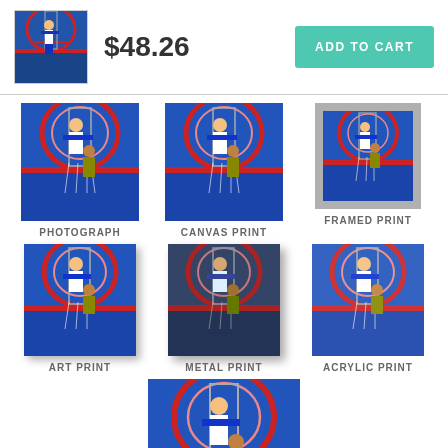[Figure (photo): Small thumbnail of basketball game photo showing player going up for shot]
$48.26
ADD TO CART
[Figure (photo): Basketball game aerial view, player dunking, Pistons arena]
PHOTOGRAPH
[Figure (photo): Basketball game aerial view, canvas print style]
CANVAS PRINT
[Figure (photo): Basketball game aerial view, framed print with grey frame]
FRAMED PRINT
[Figure (photo): Basketball game aerial view, art print with drop shadow]
ART PRINT
[Figure (photo): Basketball game aerial view, metal print with drop shadow]
METAL PRINT
[Figure (photo): Basketball game aerial view, acrylic print]
ACRYLIC PRINT
[Figure (photo): Basketball game aerial view, wood print]
WOOD PRINT